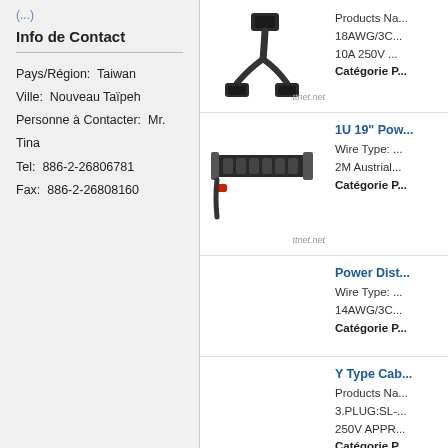Info de Contact
Pays/Région:  Taiwan
Ville:  Nouveau Taïpeh
Personne à Contacter:  Mr. Tina
Tel:  886-2-26806781
Fax:  886-2-26808160
[Figure (photo): Y-type power cable splitter with one male IEC C14 connector splitting into two female IEC C13 connectors]
Products Na...
18AWG/3C...
10A 250V ...
Catégorie P...
[Figure (photo): 1U 19 inch rack-mount PDU power strip with multiple outlets and a red switch]
1U 19" Pow...
Wire Type: ...
2M Austrial...
Catégorie P...
Power Dist...
Wire Type: ...
14AWG/3C...
Catégorie P...
Y Type Cab...
Products Na...
3.PLUG:SL-...
250V APPR...
Catégorie P...